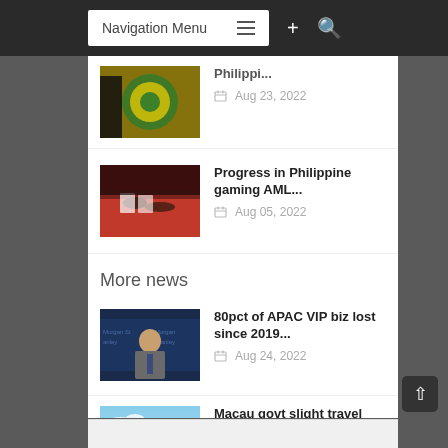Navigation Menu
[Figure (photo): Partially visible thumbnail with yellow and green logo/seal — Philippine gaming authority image, date Aug 23, 2022]
Philippi...
Aug 23, 2022
[Figure (photo): Casino table with hands dealing cards on red felt surface]
Progress in Philippine gaming AML...
Aug 05, 2022
More news
[Figure (photo): Man in suit with Morgan Stanley backdrop, news interview setting]
80pct of APAC VIP biz lost since 2019...
Aug 24, 2022
[Figure (photo): Aerial or cityscape view of Macau with buildings and greenery]
Macau govt slight travel easing little
Aug 24, 2022